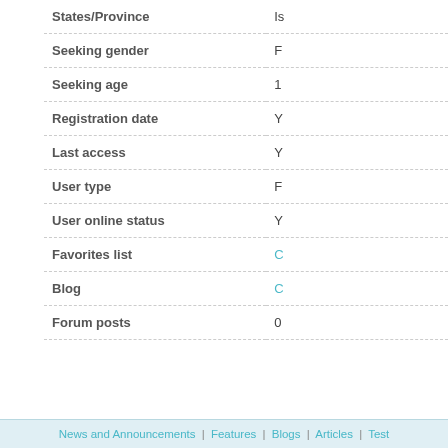| Field | Value |
| --- | --- |
| States/Province | Is... |
| Seeking gender | F... |
| Seeking age | 1... |
| Registration date | Y... |
| Last access | Y... |
| User type | F... |
| User online status | Y... |
| Favorites list | C... |
| Blog | C... |
| Forum posts | 0 |
Rate this profile
(1 - Worse, 10 - Better)
No comments available.
News and Announcements | Features | Blogs | Articles | Test...